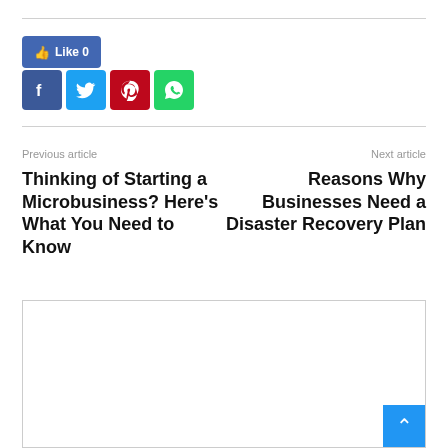[Figure (infographic): Facebook Like button showing 'Like 0']
[Figure (infographic): Social media sharing icons: Facebook (blue), Twitter (light blue), Pinterest (red), WhatsApp (green)]
Previous article
Thinking of Starting a Microbusiness? Here’s What You Need to Know
Next article
Reasons Why Businesses Need a Disaster Recovery Plan
[Figure (other): Empty white box area with border, and a blue back-to-top arrow button in the bottom right corner]